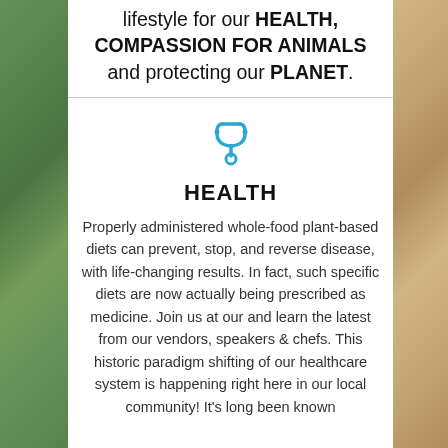lifestyle for our HEALTH, COMPASSION FOR ANIMALS and protecting our PLANET.
[Figure (illustration): Blue stethoscope icon]
HEALTH
Properly administered whole-food plant-based diets can prevent, stop, and reverse disease, with life-changing results. In fact, such specific diets are now actually being prescribed as medicine. Join us at our and learn the latest from our vendors, speakers & chefs. This historic paradigm shifting of our healthcare system is happening right here in our local community! It's long been known